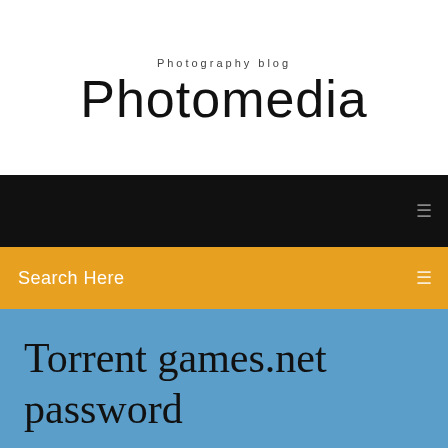Photography blog
Photomedia
Search Here
Torrent games.net password